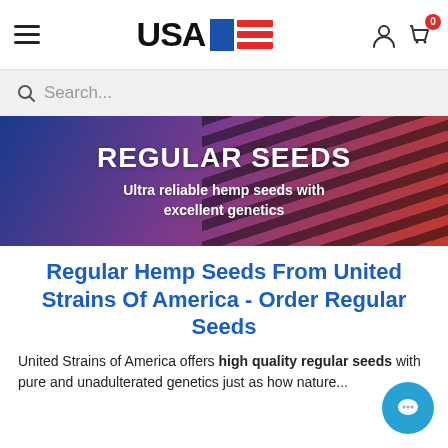USA [logo] — navigation header with hamburger menu, logo, user icon, cart with 0 badge
Search...
[Figure (illustration): Hero banner with gradient background (blue to red) and American flag stripe overlay showing text: REGULAR SEEDS / Ultra reliable hemp seeds with excellent genetics]
Regular Hemp Seeds From United Strains Of America - Order Regular Seeds
United Strains of America offers high quality regular seeds with pure and unadulterated genetics just as how nature...